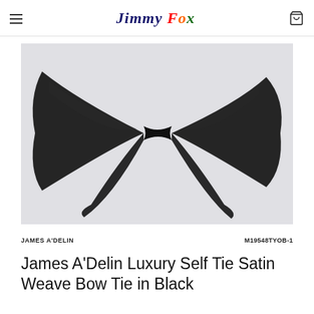Jimmy Fox (logo with hamburger menu and cart icon)
[Figure (photo): Black satin weave self-tie bow tie unfolded, photographed on a light grey/white background]
JAMES A'DELIN                                M19548TYOB-1
James A'Delin Luxury Self Tie Satin Weave Bow Tie in Black